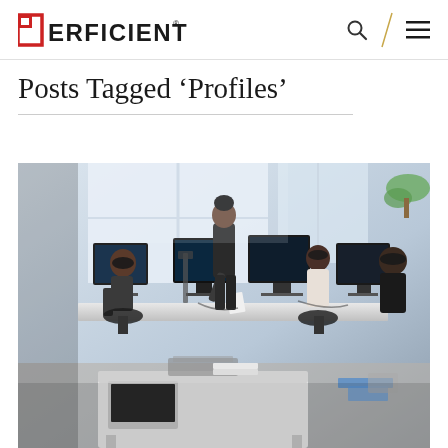PERFICIENT
Posts Tagged ‘Profiles’
[Figure (photo): Office scene with multiple workers at computer workstations in an open-plan office. A standing woman is leaning over a desk, others are seated at monitors. The space has large windows and multiple computer screens.]